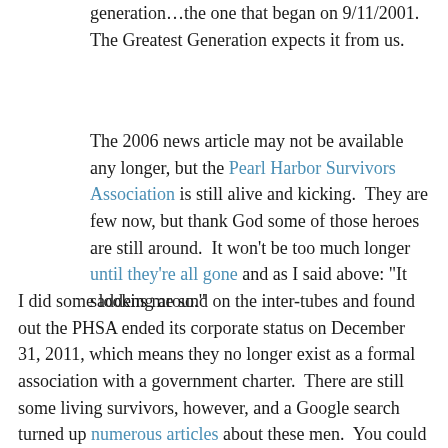generation…the one that began on 9/11/2001. The Greatest Generation expects it from us.
The 2006 news article may not be available any longer, but the Pearl Harbor Survivors Association is still alive and kicking.  They are few now, but thank God some of those heroes are still around.  It won't be too much longer until they're all gone and as I said above: "It saddens me so."
I did some looking around on the inter-tubes and found out the PHSA ended its corporate status on December 31, 2011, which means they no longer exist as a formal association with a government charter.  There are still some living survivors, however, and a Google search turned up numerous articles about these men.  You could